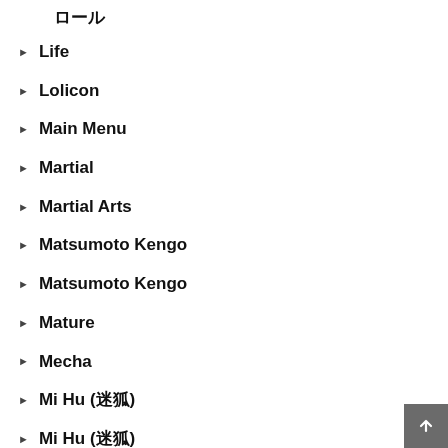Life
Lolicon
Main Menu
Martial
Martial Arts
Matsumoto Kengo
Matsumoto Kengo
Mature
Mecha
Mi Hu (迷狐)
Mi Hu (迷狐)
Mystery